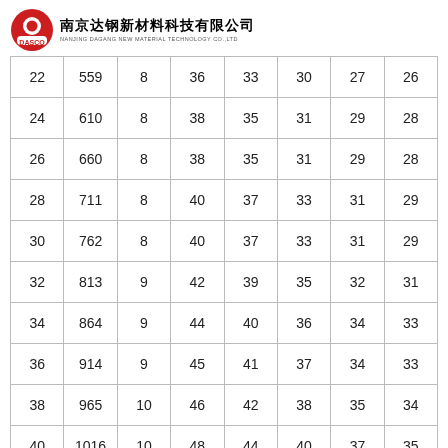南京达钢新材料科技有限公司 NANJING DAGANG NEW MATERIAL TECHNOLOGY CO.,LTD
| 22 | 559 | 8 | 36 | 33 | 30 | 27 | 26 |
| 24 | 610 | 8 | 38 | 35 | 31 | 29 | 28 |
| 26 | 660 | 8 | 38 | 35 | 31 | 29 | 28 |
| 28 | 711 | 8 | 40 | 37 | 33 | 31 | 29 |
| 30 | 762 | 8 | 40 | 37 | 33 | 31 | 29 |
| 32 | 813 | 9 | 42 | 39 | 35 | 32 | 31 |
| 34 | 864 | 9 | 44 | 40 | 36 | 34 | 33 |
| 36 | 914 | 9 | 45 | 41 | 37 | 34 | 33 |
| 38 | 965 | 10 | 46 | 42 | 38 | 35 | 34 |
| 40 | 1016 | 10 | 48 | 44 | 40 | 37 | 35 |
| 42 | 1067 | 10 | 48 | 44 | 40 | 37 | 35 |
| 44 | 1118 | 10 | 49 | 45 | 40 | 37 | 36 |